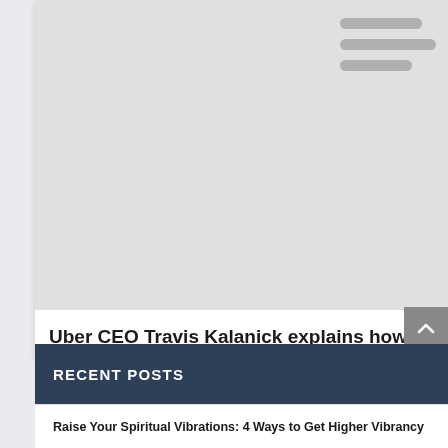[Figure (screenshot): Screenshot of a webpage card with a light gray placeholder image area and a hamburger menu icon (three horizontal bars) in the top right corner of the image area.]
Uber CEO Travis Kalanick explains how to find ‘the i
June 23, 2016
RECENT POSTS
Raise Your Spiritual Vibrations: 4 Ways to Get Higher Vibrancy